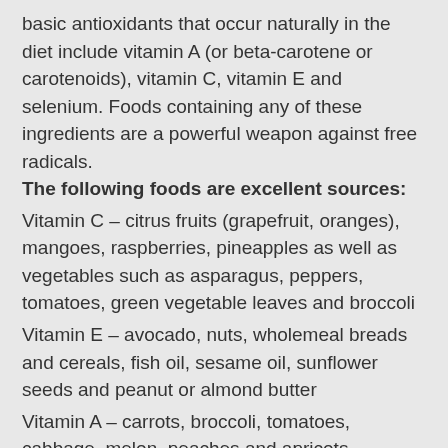basic antioxidants that occur naturally in the diet include vitamin A (or beta-carotene or carotenoids), vitamin C, vitamin E and selenium. Foods containing any of these ingredients are a powerful weapon against free radicals.
The following foods are excellent sources:
Vitamin C – citrus fruits (grapefruit, oranges), mangoes, raspberries, pineapples as well as vegetables such as asparagus, peppers, tomatoes, green vegetable leaves and broccoli
Vitamin E – avocado, nuts, wholemeal breads and cereals, fish oil, sesame oil, sunflower seeds and peanut or almond butter
Vitamin A – carrots, broccoli, tomatoes, cabbage, melon, peaches and apricots
Selenium – fish, red meat, eggs, nuts, garlic, oatmeal and brown rice
For those who do not have an ideal diet with all vitamins for any reason, and for all those who want to be sure that their body has everything, they can help themselves with